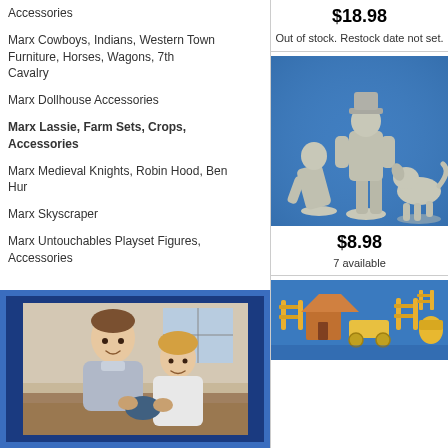Accessories
Marx Cowboys, Indians, Western Town Furniture, Horses, Wagons, 7th Cavalry
Marx Dollhouse Accessories
Marx Lassie, Farm Sets, Crops, Accessories
Marx Medieval Knights, Robin Hood, Ben Hur
Marx Skyscraper
Marx Untouchables Playset Figures, Accessories
[Figure (photo): Father and son looking at a toy together, smiling]
$18.98
Out of stock. Restock date not set.
[Figure (photo): Gray plastic figurines: a child, an adult man in hat, and a dog/sheep, on blue background]
$8.98
7 available
[Figure (photo): Yellow plastic farm accessories on blue background]